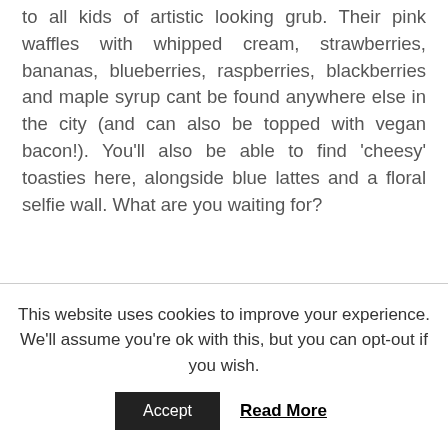to all kids of artistic looking grub. Their pink waffles with whipped cream, strawberries, bananas, blueberries, raspberries, blackberries and maple syrup cant be found anywhere else in the city (and can also be topped with vegan bacon!). You'll also be able to find 'cheesy' toasties here, alongside blue lattes and a floral selfie wall. What are you waiting for?
This website uses cookies to improve your experience. We'll assume you're ok with this, but you can opt-out if you wish.